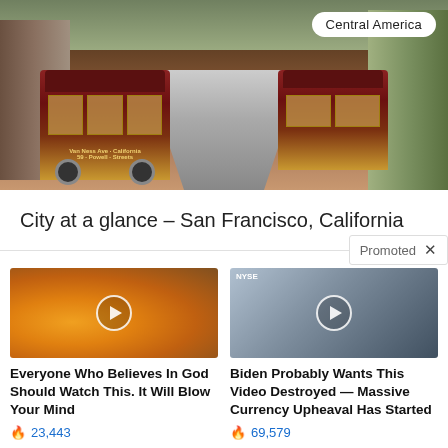[Figure (photo): San Francisco cable cars / trams on a city street, urban buildings on both sides, warm evening light]
Central America
City at a glance – San Francisco, California
Promoted ✕
[Figure (screenshot): Video thumbnail showing golden clouds with light rays, play button overlay]
Everyone Who Believes In God Should Watch This. It Will Blow Your Mind
🔥 23,443
[Figure (screenshot): Video thumbnail showing NYSE news desk with man in suit, play button overlay]
Biden Probably Wants This Video Destroyed — Massive Currency Upheaval Has Started
🔥 69,579